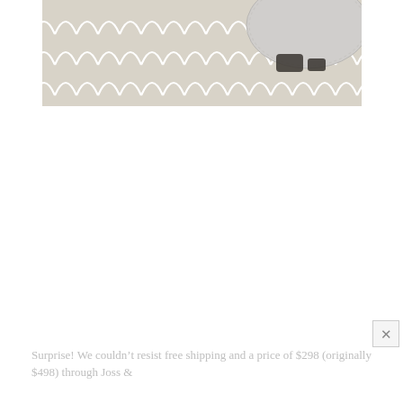[Figure (photo): Close-up photo of a beige/cream rug with a white scallop or fish-scale pattern, with a round grey placemat or tray visible in the upper right corner.]
Surprise! We couldn't resist free shipping and a price of $298 (originally $498) through Joss &